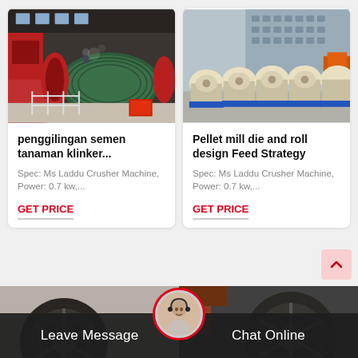[Figure (photo): Industrial ball mill machine in a factory, large green cylindrical drum with workers on top, red machinery on left]
penggilingan semen tanaman klinker...
Spec: Ms Laddu Crusher Machine, Power: 0.7 kw,...
GET PRICE
[Figure (photo): Row of pellet mill machines in cream/beige color on blue bases, outdoors with building in background]
Pellet mill die and roll design Feed Strategy
Spec: Ms Laddu Crusher Machine, Power: 0.7 kw,...
GET PRICE
[Figure (photo): Partial view of machinery at bottom left]
[Figure (photo): Partial view of large industrial wheel/pulley machinery at bottom right]
Leave Message
Chat Online